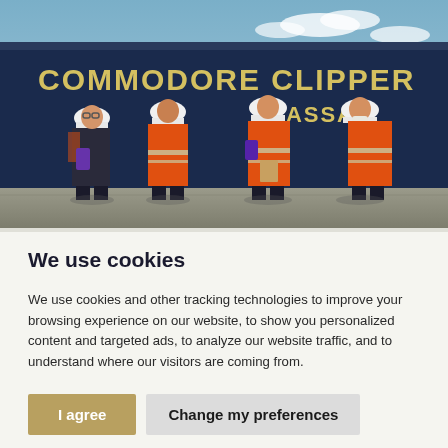[Figure (photo): Four workers in orange high-visibility jackets and white hard hats standing in front of a large dark blue ship named 'COMMODORE CLIPPER Nassau', some holding up items (phones/cards). Outdoor port setting.]
We use cookies
We use cookies and other tracking technologies to improve your browsing experience on our website, to show you personalized content and targeted ads, to analyze our website traffic, and to understand where our visitors are coming from.
I agree | Change my preferences